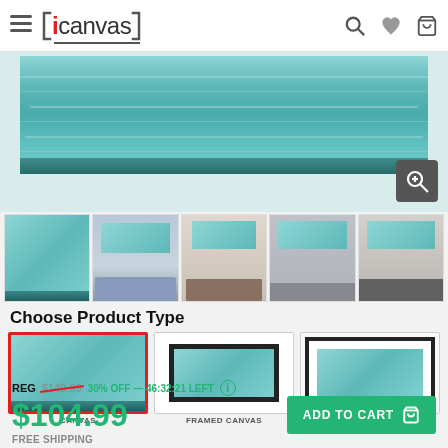iCanvas
[Figure (photo): Canvas print of a ship under a large bridge in stormy teal water — main product image shown as wrapped canvas]
[Figure (photo): Row of 5 thumbnail images showing the artwork in different room settings]
Choose Product Type
[Figure (photo): Three product type options: CANVAS (selected with red border), FRAMED CANVAS, FRAMED PRINT]
REG $149.99  30% OFF — 46:32:21 LEFT
$104.99
FREE SHIPPING